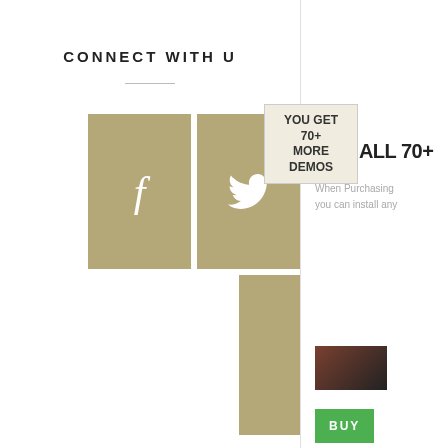CONNECT WITH U
[Figure (illustration): Three social media icon boxes in gold/tan color: Facebook (f), Twitter (bird icon with tooltip 'YOU GET 70+ MORE DEMOS'), and LinkedIn (in). Arranged in a grid layout.]
YOU GET 70+ MORE DEMOS
GET ALL 70+
When Purchasing you can install any
[Figure (photo): Thumbnail image of a dark action scene]
BUY